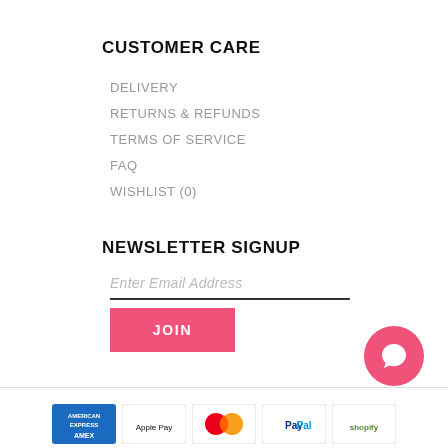CUSTOMER CARE
DELIVERY
RETURNS & REFUNDS
TERMS OF SERVICE
FAQ
WISHLIST (0)
NEWSLETTER SIGNUP
Enter Email Address
JOIN
[Figure (logo): Payment icons row: American Express, Apple Pay, Mastercard, PayPal, Shopify]
[Figure (illustration): Pink circular chat/support button with speech bubble icon]